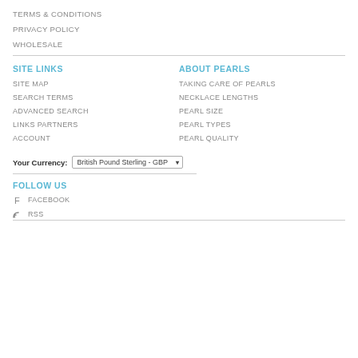TERMS & CONDITIONS
PRIVACY POLICY
WHOLESALE
SITE LINKS
ABOUT PEARLS
SITE MAP
TAKING CARE OF PEARLS
SEARCH TERMS
NECKLACE LENGTHS
ADVANCED SEARCH
PEARL SIZE
LINKS PARTNERS
PEARL TYPES
ACCOUNT
PEARL QUALITY
Your Currency: British Pound Sterling - GBP
FOLLOW US
FACEBOOK
RSS